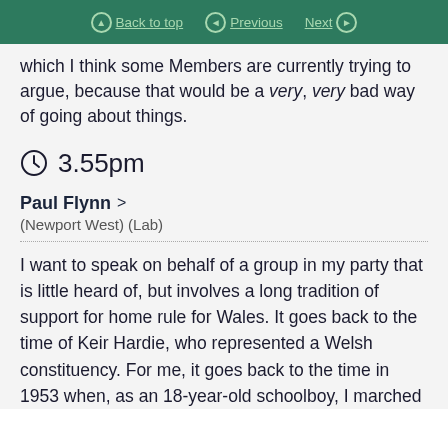Back to top | Previous | Next
which I think some Members are currently trying to argue, because that would be a very, very bad way of going about things.
3.55pm
Paul Flynn > (Newport West) (Lab)
I want to speak on behalf of a group in my party that is little heard of, but involves a long tradition of support for home rule for Wales. It goes back to the time of Keir Hardie, who represented a Welsh constituency. For me, it goes back to the time in 1953 when, as an 18-year-old schoolboy, I marched through Cardiff with a right of, a sort of, a very...